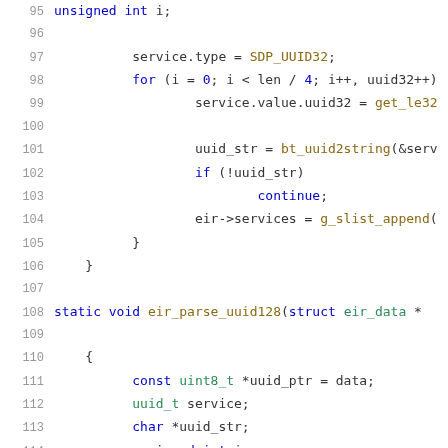Code snippet lines 95-116, C source code showing eir_parse_uuid128 function
95: unsigned int i;
96: (blank)
97:     service.type = SDP_UUID32;
98:     for (i = 0; i < len / 4; i++, uuid32++)
99:             service.value.uuid32 = get_le32
100: (blank)
101:             uuid_str = bt_uuid2string(&serv
102:             if (!uuid_str)
103:                     continue;
104:             eir->services = g_slist_append(
105:     }
106: }
107: (blank)
108: static void eir_parse_uuid128(struct eir_data *
109: (blank)
110: {
111:     const uint8_t *uuid_ptr = data;
112:     uuid_t service;
113:     char *uuid_str;
114:     unsigned int i;
115:     int k;
116: (blank)